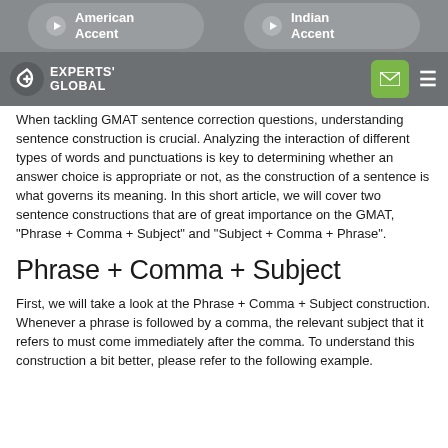[Figure (screenshot): Top navigation bar with American Accent and Indian Accent buttons on grey background]
[Figure (screenshot): Experts Global logo navigation bar with mail icon and hamburger menu]
When tackling GMAT sentence correction questions, understanding sentence construction is crucial. Analyzing the interaction of different types of words and punctuations is key to determining whether an answer choice is appropriate or not, as the construction of a sentence is what governs its meaning. In this short article, we will cover two sentence constructions that are of great importance on the GMAT, "Phrase + Comma + Subject" and "Subject + Comma + Phrase".
Phrase + Comma + Subject
First, we will take a look at the Phrase + Comma + Subject construction. Whenever a phrase is followed by a comma, the relevant subject that it refers to must come immediately after the comma. To understand this construction a bit better, please refer to the following example.